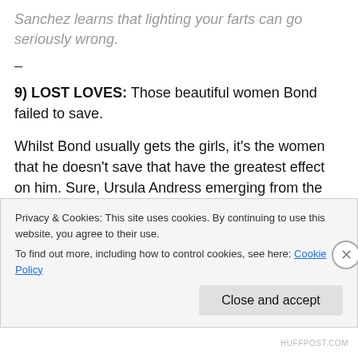Sanchez learns that lighting your farts can go seriously wrong.
–
9) LOST LOVES: Those beautiful women Bond failed to save.
Whilst Bond usually gets the girls, it's the women that he doesn't save that have the greatest effect on him. Sure, Ursula Andress emerging from the water as Honey Ryder in Dr. No made a deep impression on us all, and no doubt
Privacy & Cookies: This site uses cookies. By continuing to use this website, you agree to their use.
To find out more, including how to control cookies, see here: Cookie Policy
Close and accept